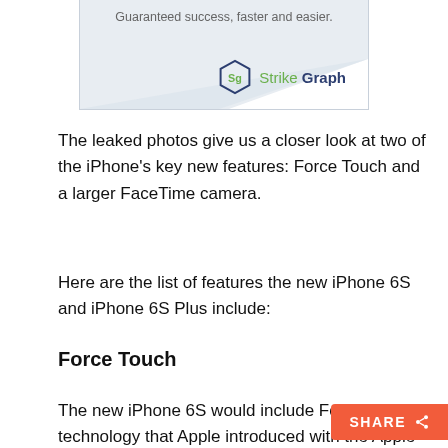[Figure (logo): Strike Graph advertisement banner with tagline 'Guaranteed success, faster and easier.' and the Strike Graph logo (hexagon icon with 'Sg' and green/blue wordmark)]
The leaked photos give us a closer look at two of the iPhone's key new features: Force Touch and a larger FaceTime camera.
Here are the list of features the new iPhone 6S and iPhone 6S Plus include:
Force Touch
The new iPhone 6S would include Force Touch technology that Apple introduced with the Apple Watch,